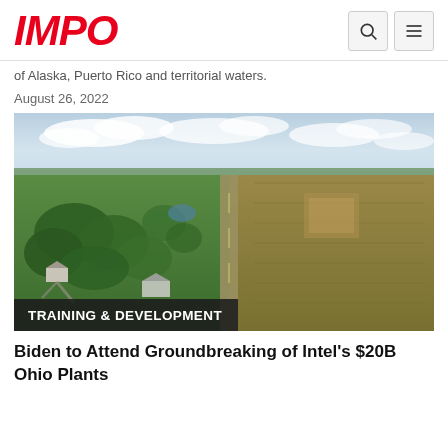IMPO
of Alaska, Puerto Rico and territorial waters.
August 26, 2022
[Figure (photo): Aerial drone photograph of a rural Ohio landscape showing green fields with houses, trees, ponds, driveways on the left side, and brown/tan cleared agricultural land on the right side under a partly cloudy sky. A road divides the two zones.]
TRAINING & DEVELOPMENT
Biden to Attend Groundbreaking of Intel's $20B Ohio Plants